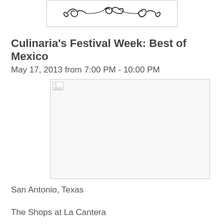[Figure (illustration): Decorative ornamental flourish/swirl design in black on white background, inside a bordered box]
Culinaria's Festival Week: Best of Mexico
May 17, 2013 from 7:00 PM - 10:00 PM
[Figure (photo): Broken/missing image placeholder with small broken image icon in top-left corner, white background with light grey border]
San Antonio, Texas
The Shops at La Cantera